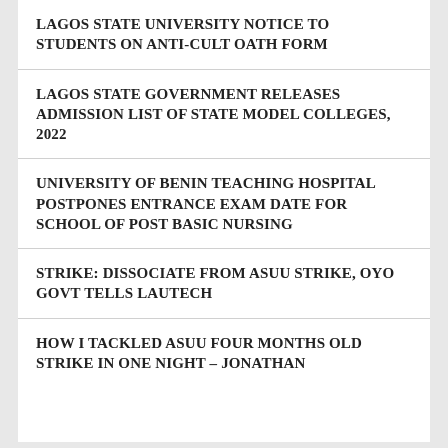LAGOS STATE UNIVERSITY NOTICE TO STUDENTS ON ANTI-CULT OATH FORM
LAGOS STATE GOVERNMENT RELEASES ADMISSION LIST OF STATE MODEL COLLEGES, 2022
UNIVERSITY OF BENIN TEACHING HOSPITAL POSTPONES ENTRANCE EXAM DATE FOR SCHOOL OF POST BASIC NURSING
STRIKE: DISSOCIATE FROM ASUU STRIKE, OYO GOVT TELLS LAUTECH
HOW I TACKLED ASUU FOUR MONTHS OLD STRIKE IN ONE NIGHT – JONATHAN